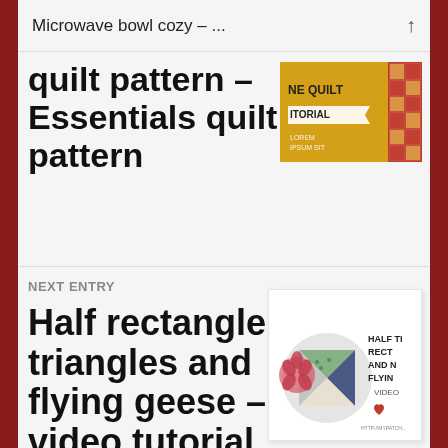Microwave bowl cozy – ...
quilt pattern – Essentials quilt pattern
[Figure (illustration): Thumbnail showing a quilt book cover with yellow background, red border, quilt pattern image, text reading NE QUILT ITORIAL]
NEXT ENTRY
Half rectangle triangles and flying geese – video tutorial
[Figure (illustration): Thumbnail showing half rectangle triangles and flying geese quilt block in pinwheel arrangement with text HALF TI RECT AND N FLYIN VIDEO]